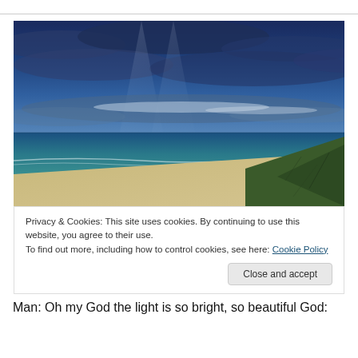[Figure (photo): A wide beach landscape with calm teal ocean water, sandy shore, green grassy cliffs on the right, and a dramatic deep blue sky with scattered clouds and light breaking through.]
Privacy & Cookies: This site uses cookies. By continuing to use this website, you agree to their use.
To find out more, including how to control cookies, see here: Cookie Policy
Close and accept
Man: Oh my God the light is so bright, so beautiful God: